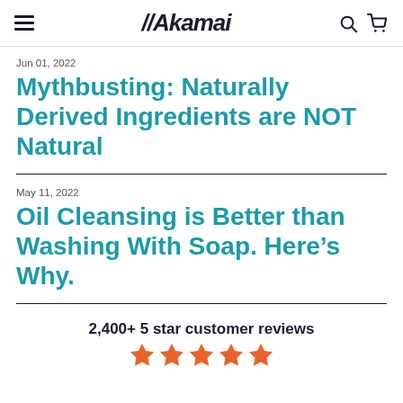//Akamai
Jun 01, 2022
Mythbusting: Naturally Derived Ingredients are NOT Natural
May 11, 2022
Oil Cleansing is Better than Washing With Soap. Here’s Why.
2,400+ 5 star customer reviews